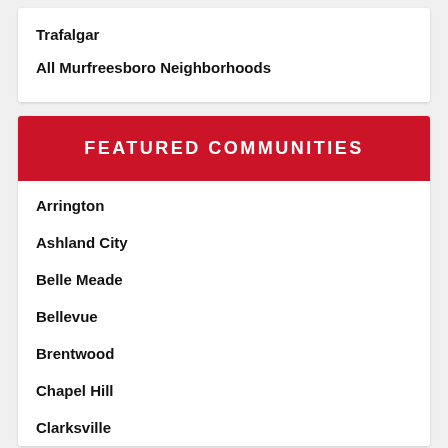Trafalgar
All Murfreesboro Neighborhoods
FEATURED COMMUNITIES
Arrington
Ashland City
Belle Meade
Bellevue
Brentwood
Chapel Hill
Clarksville